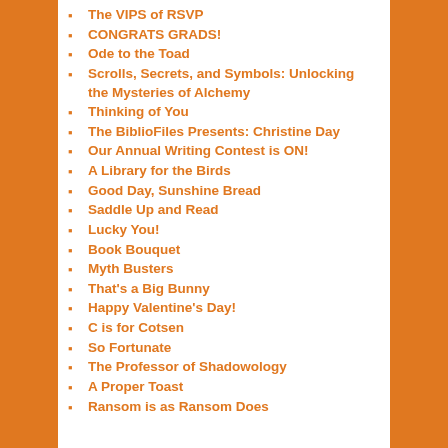The VIPS of RSVP
CONGRATS GRADS!
Ode to the Toad
Scrolls, Secrets, and Symbols: Unlocking the Mysteries of Alchemy
Thinking of You
The BiblioFiles Presents: Christine Day
Our Annual Writing Contest is ON!
A Library for the Birds
Good Day, Sunshine Bread
Saddle Up and Read
Lucky You!
Book Bouquet
Myth Busters
That's a Big Bunny
Happy Valentine's Day!
C is for Cotsen
So Fortunate
The Professor of Shadowology
A Proper Toast
Ransom is as Ransom Does